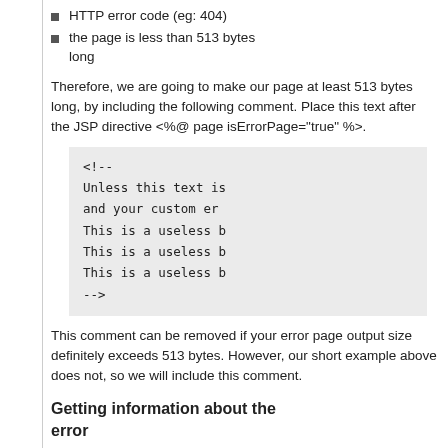HTTP error code (eg: 404)
the page is less than 513 bytes long
Therefore, we are going to make our page at least 513 bytes long, by including the following comment. Place this text after the JSP directive <%@ page isErrorPage="true" %>.
[Figure (screenshot): Code block showing an HTML comment with placeholder text lines, beginning with <!-- and ending with -->]
This comment can be removed if your error page output size definitely exceeds 513 bytes. However, our short example above does not, so we will include this comment.
Getting information about the error